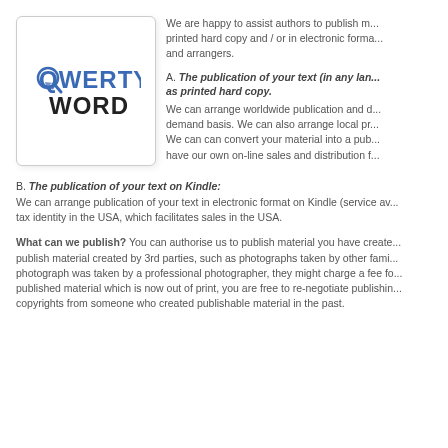[Figure (logo): QwertyWord logo — stylized text reading QWERTY WORD in blue and dark/black with a cursor icon]
We are happy to assist authors to publish material in printed hard copy and / or in electronic format for composers and arrangers.
A. The publication of your text (in any language) as printed hard copy.
We can arrange worldwide publication and distribution on a demand basis. We can also arrange local pr... We can can convert your material into a pub... have our own on-line sales and distribution f...
B. The publication of your text on Kindle:
We can arrange publication of your text in electronic format on Kindle (service av... tax identity in the USA, which facilitates sales in the USA.
What can we publish? You can authorise us to publish material you have create... publish material created by 3rd parties, such as photographs taken by other fami... photograph was taken by a professional photographer, they might charge a fee fo... published material which is now out of print, you are free to re-negotiate publishin... copyrights from someone who created publishable material in the past.